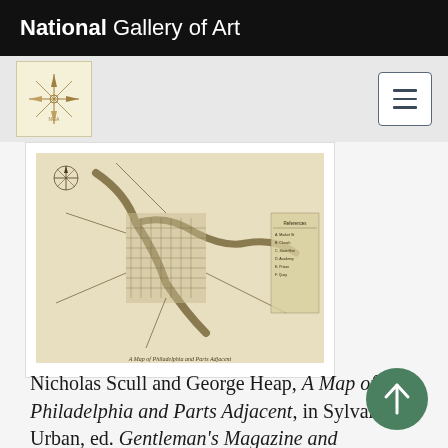National Gallery of Art
[Figure (logo): National Gallery of Art compass rose thumbnail and hamburger menu button]
[Figure (map): Historical map of Philadelphia and surrounding areas showing rivers, roads, and settlements, engraved in black and white on aged paper]
Nicholas Scull and George Heap, A Map of Philadelphia and Parts Adjacent, in Sylvanus Urban, ed. Gentleman's Magazine and Historical